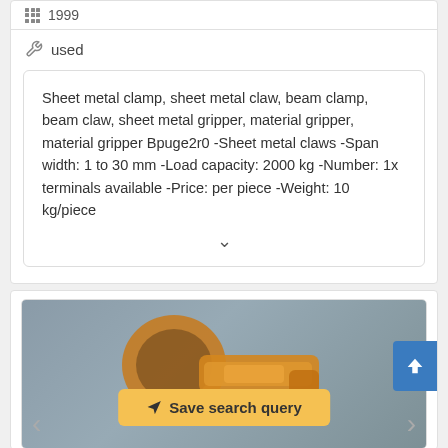1999
used
Sheet metal clamp, sheet metal claw, beam clamp, beam claw, sheet metal gripper, material gripper, material gripper Bpuge2r0 -Sheet metal claws -Span width: 1 to 30 mm -Load capacity: 2000 kg -Number: 1x terminals available -Price: per piece -Weight: 10 kg/piece
[Figure (photo): Yellow/orange sheet metal clamp or beam clamp product photo on grey background, with navigation arrows and a 'Save search query' button overlay]
Save search query